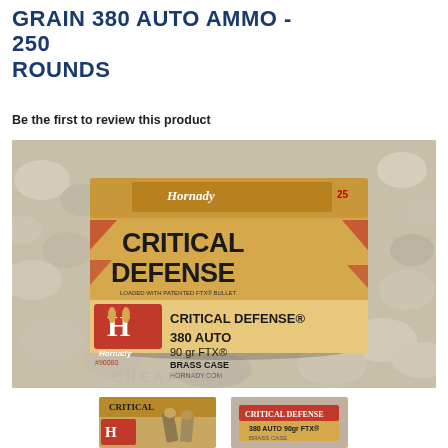GRAIN 380 AUTO AMMO - 250 ROUNDS
Be the first to review this product
[Figure (photo): Hornady Critical Defense 380 Auto 90 gr FTX Brass Case ammunition box (#90080) sitting on rocks/pebbles, with the product label clearly visible showing the Hornady H logo in red and the text CRITICAL DEFENSE 380 AUTO 90 gr FTX BRASS CASE HORNADY.COM]
[Figure (photo): Thumbnail image showing Hornady Critical Defense ammo box and loose bullets]
[Figure (photo): Thumbnail image showing Hornady Critical Defense ammo box from a different angle]